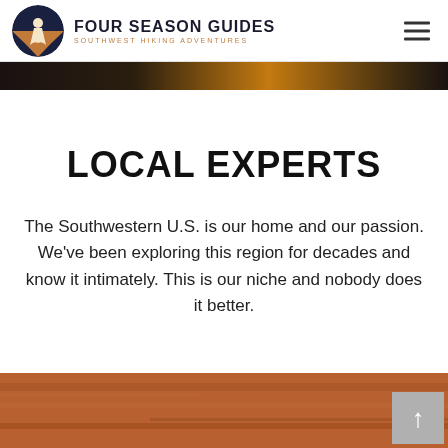FOUR SEASON GUIDES — SOUTHWEST HIKING ADVENTURES
[Figure (photo): Dark image strip showing tent/campfire scene at dusk]
LOCAL EXPERTS
The Southwestern U.S. is our home and our passion. We've been exploring this region for decades and know it intimately. This is our niche and nobody does it better.
[Figure (photo): Bottom strip showing desert terrain / reddish sandy ground]